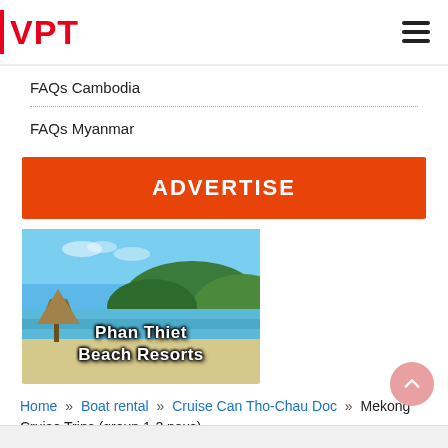VPT
FAQs Cambodia
FAQs Myanmar
ADVERTISE
[Figure (photo): Beach resort scene with thatched hut, white sandy beach, turquoise water, and green hills. Text overlay reads 'Phan Thiet Beach Resorts']
Home » Boat rental » Cruise Can Tho-Chau Doc » Mekong Cruise Trips (group 1-2 paxs)